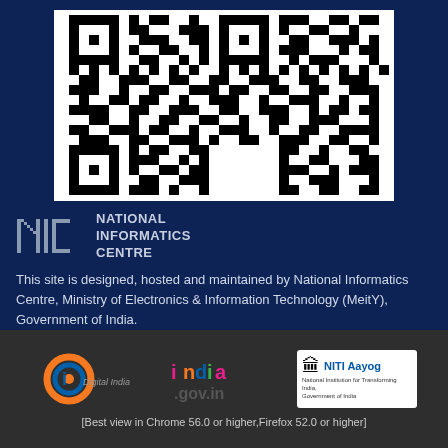[Figure (other): QR code image in white box on dark blue background]
[Figure (logo): NIC - National Informatics Centre logo with grey letters NIC and text]
This site is designed, hosted and maintained by National Informatics Centre, Ministry of Electronics & Information Technology (MeitY), Government of India.
[Figure (logo): Digital India logo - orange and blue swirl with text 'Digital India']
[Figure (logo): india.gov.in logo in colorful stylized text]
[Figure (logo): NITI Aayog logo with emblem and text 'National Institution for Transforming India, Government of India']
[Best view in Chrome 56.0 or higher,Firefox 52.0 or higher]